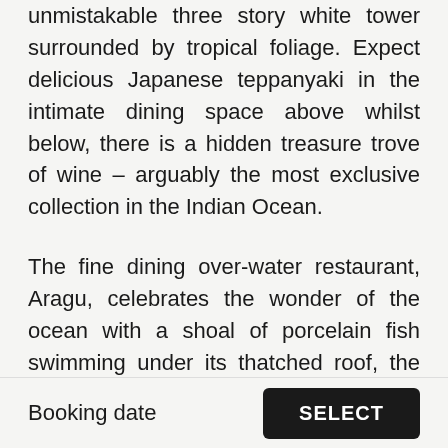unmistakable three story white tower surrounded by tropical foliage. Expect delicious Japanese teppanyaki in the intimate dining space above whilst below, there is a hidden treasure trove of wine – arguably the most exclusive collection in the Indian Ocean.
The fine dining over-water restaurant, Aragu, celebrates the wonder of the ocean with a shoal of porcelain fish swimming under its thatched roof, the room open to the elements allowing the soft murmur of the ocean to accompany the delicious European menu. For privacy, head to the table at the end of the jetty. Adjacent, guests may retire to a vintage Champagne lounge, Cru, for a little
Booking date   SELECT